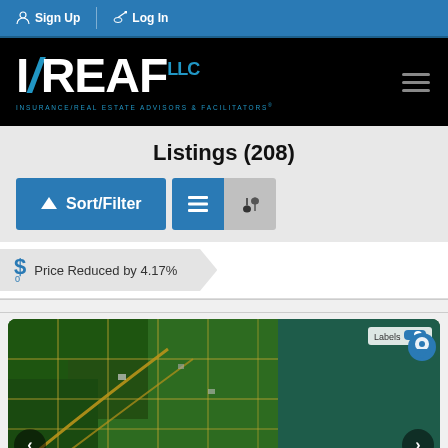Sign Up | Log In
[Figure (logo): I/REAF LLC logo on black background with tagline INSURANCE/REAL ESTATE ADVISORS & FACILITATORS]
Listings (208)
Sort/Filter (button), list view icon, map view icon
Price Reduced by 4.17%
[Figure (map): Aerial satellite map view showing land parcels with grid lines near a waterway, with navigation arrows]